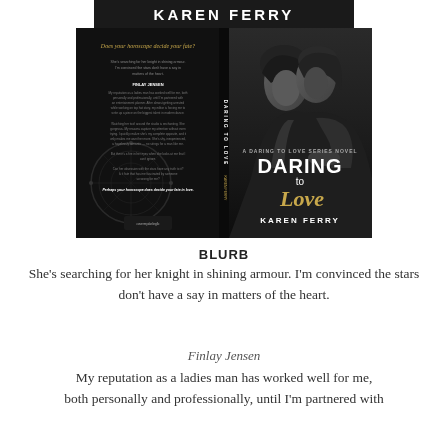KAREN FERRY
[Figure (photo): Book cover of 'Daring to Love' by Karen Ferry. The cover shows a black and white romantic photo of a man and woman about to kiss on the right side, and the book's back cover text on the left side with a zodiac wheel illustration. The title 'DARING to Love' is displayed in large text with 'Love' in gold script, and 'KAREN FERRY' at the bottom.]
BLURB
She's searching for her knight in shining armour. I'm convinced the stars don't have a say in matters of the heart.
Finlay Jensen
My reputation as a ladies man has worked well for me, both personally and professionally, until I'm partnered with an entertainment planner.